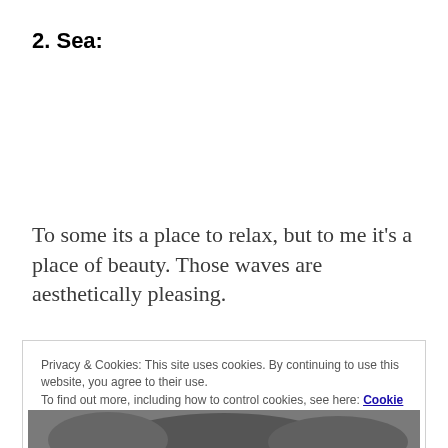2. Sea:
To some its a place to relax, but to me it’s a place of beauty. Those waves are aesthetically pleasing.
Privacy & Cookies: This site uses cookies. By continuing to use this website, you agree to their use.
To find out more, including how to control cookies, see here: Cookie Policy
Close and accept
[Figure (photo): Partial black and white photo visible at bottom of page]